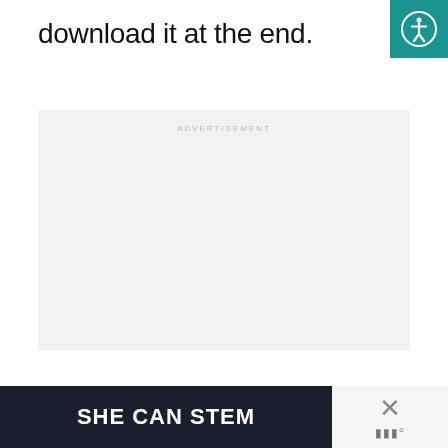download it at the end.
[Figure (other): Accessibility icon — circular person figure in white on teal/dark green background square]
[Figure (other): Advertisement placeholder box with light gray background and 'ADVERTISEMENT' label in light gray uppercase text]
[Figure (other): Banner ad with dark navy background showing 'SHE CAN STEM' in bold white uppercase text, with a close/dismiss area on the right showing an X and dots logo]